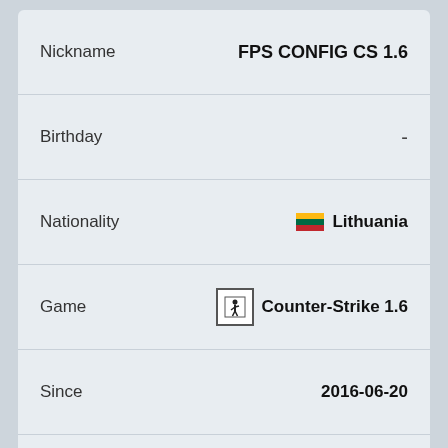| Field | Value |
| --- | --- |
| Nickname | FPS CONFIG CS 1.6 |
| Birthday | - |
| Nationality | Lithuania |
| Game | Counter-Strike 1.6 |
| Since | 2016-06-20 |
| Last Update | 2016-06-20 |
Navigation
FPS CONFIG CS 1.6